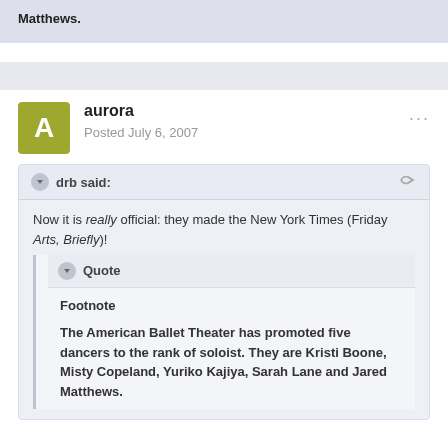Matthews.
aurora
Posted July 6, 2007
drb said:
Now it is really official: they made the New York Times (Friday Arts, Briefly)!
Quote
Footnote
The American Ballet Theater has promoted five dancers to the rank of soloist. They are Kristi Boone, Misty Copeland, Yuriko Kajiya, Sarah Lane and Jared Matthews.